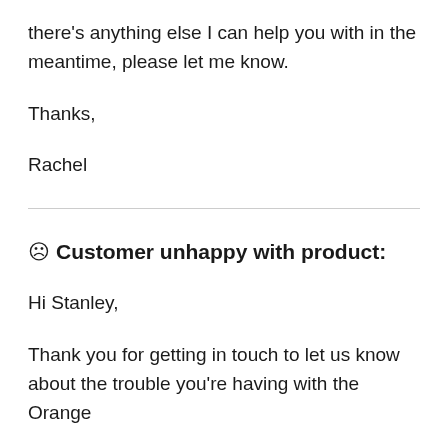there's anything else I can help you with in the meantime, please let me know.
Thanks,
Rachel
☹ Customer unhappy with product:
Hi Stanley,
Thank you for getting in touch to let us know about the trouble you're having with the Orange